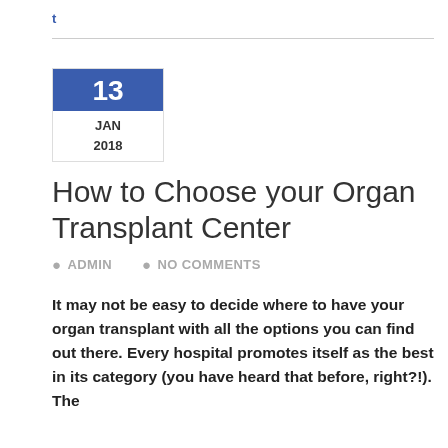t
13 JAN 2018
How to Choose your Organ Transplant Center
ADMIN   NO COMMENTS
It may not be easy to decide where to have your organ transplant with all the options you can find out there. Every hospital promotes itself as the best in its category (you have heard that before, right?!). The